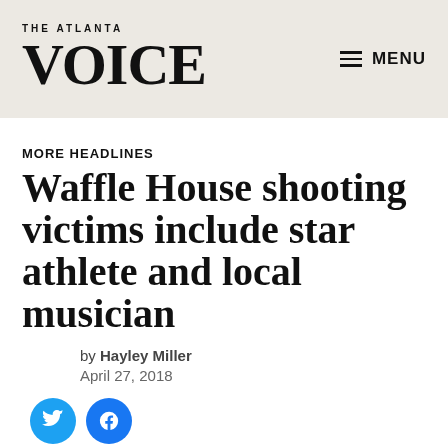THE ATLANTA VOICE
MORE HEADLINES
Waffle House shooting victims include star athlete and local musician
by Hayley Miller
April 27, 2018